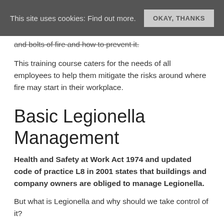This site uses cookies: Find out more. OKAY, THANKS
and bolts of fire and how to prevent it.
This training course caters for the needs of all employees to help them mitigate the risks around where fire may start in their workplace.
Basic Legionella Management
Health and Safety at Work Act 1974 and updated code of practice L8 in 2001 states that buildings and company owners are obliged to manage Legionella.
But what is Legionella and why should we take control of it?
Legionella is a bacterium that causes Legionnairesâ€™ disease that is usually found on air-conditioners and heating systems which might complicate the peopleâ€™s health on the workplace. This disease can be treated by antibiotics and yet in